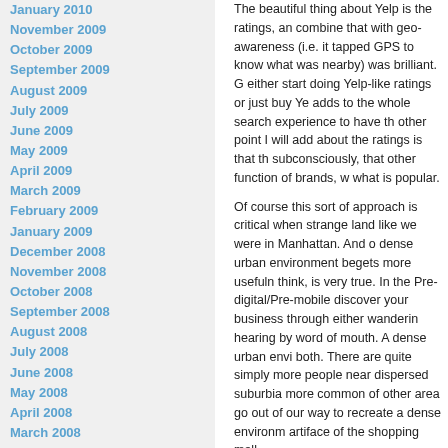January 2010
November 2009
October 2009
September 2009
August 2009
July 2009
June 2009
May 2009
April 2009
March 2009
February 2009
January 2009
December 2008
November 2008
October 2008
September 2008
August 2008
July 2008
June 2008
May 2008
April 2008
March 2008
February 2008
January 2008
December 2007
November 2007
October 2007
September 2007
August 2007
July 2007
June 2007
May 2007
Recent Comments
Camels to Cars, Arti… on A Picture
The beautiful thing about Yelp is the ratings, and combine that with geo-awareness (i.e. it tapped GPS to know what was nearby) was brilliant. G either start doing Yelp-like ratings or just buy Ye adds to the whole search experience to have th other point I will add about the ratings is that th subconsciously, that other function of brands, w what is popular.
Of course this sort of approach is critical when strange land like we were in Manhattan. And o dense urban environment begets more usefuln think, is very true. In the Pre-digital/Pre-mobile discover your business through either wanderin hearing by word of mouth. A dense urban envi both. There are quite simply more people near dispersed suburbia more common of other area go out of our way to recreate a dense environm artiface of the shopping mall.
But let's not think that the value of Effective Se that dense environment. As a matter of fact, I'll more important. Manhattan is so competitive, a is hard not to find at least a few good restauran jocks like to say, it is a "target rich environment blessed. Mediocre establishments do better th precisely because there is less competition. T